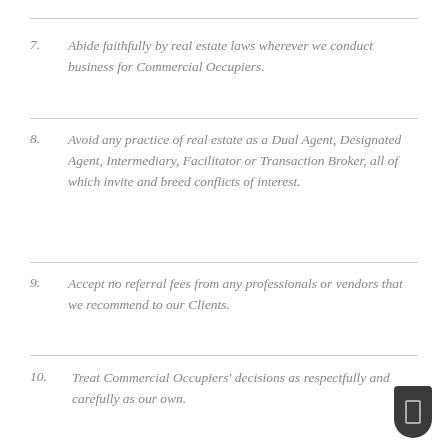7. Abide faithfully by real estate laws wherever we conduct business for Commercial Occupiers.
8. Avoid any practice of real estate as a Dual Agent, Designated Agent, Intermediary, Facilitator or Transaction Broker, all of which invite and breed conflicts of interest.
9. Accept no referral fees from any professionals or vendors that we recommend to our Clients.
10. Treat Commercial Occupiers' decisions as respectfully and carefully as our own.